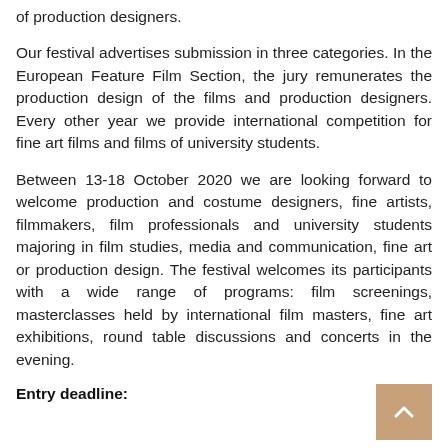of production designers.
Our festival advertises submission in three categories. In the European Feature Film Section, the jury remunerates the production design of the films and production designers. Every other year we provide international competition for fine art films and films of university students.
Between 13-18 October 2020 we are looking forward to welcome production and costume designers, fine artists, filmmakers, film professionals and university students majoring in film studies, media and communication, fine art or production design. The festival welcomes its participants with a wide range of programs: film screenings, masterclasses held by international film masters, fine art exhibitions, round table discussions and concerts in the evening.
Entry deadline: